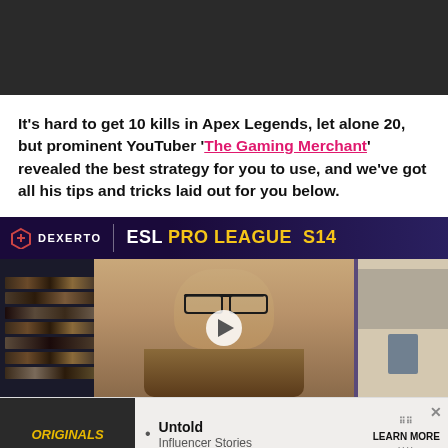[Figure (screenshot): Dark gray banner/header bar at top of page]
It's hard to get 10 kills in Apex Legends, let alone 20, but prominent YouTuber 'The Gaming Merchant' revealed the best strategy for you to use, and we've got all his tips and tricks laid out for you below.
[Figure (screenshot): Dexerto ESL Pro League S14 video player thumbnail showing a person with glasses in front of a bookshelf. Overlay shows Dexerto logo and ESL PRO LEAGUE S14 branding with a play button in center.]
[Figure (screenshot): Advertisement bar showing Originals logo on left and 'Untold Influencer Stories' with a Learn More button on right, with X close button.]